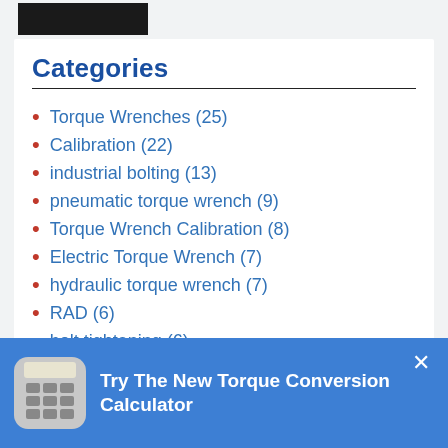[Figure (screenshot): Dark banner/logo image at top left]
Categories
Torque Wrenches (25)
Calibration (22)
industrial bolting (13)
pneumatic torque wrench (9)
Torque Wrench Calibration (8)
Electric Torque Wrench (7)
hydraulic torque wrench (7)
RAD (6)
bolt tightening (6)
Industrial bolting tools (5)
Try The New Torque Conversion Calculator